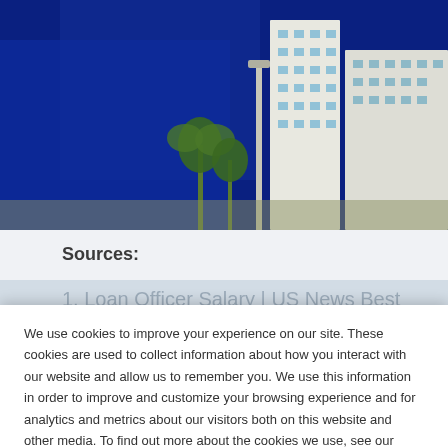[Figure (photo): Aerial/street view of white Art Deco buildings with palm trees against a deep blue sky, Miami Beach style architecture]
Sources:
1. Loan Officer Salary | US News Best Jobs
2. Why So Many Fail the NMLS SAFE Act MLO
We use cookies to improve your experience on our site. These cookies are used to collect information about how you interact with our website and allow us to remember you. We use this information in order to improve and customize your browsing experience and for analytics and metrics about our visitors both on this website and other media. To find out more about the cookies we use, see our Privacy Policy.